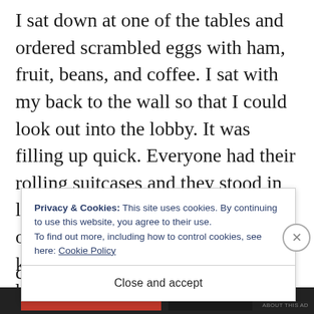I sat down at one of the tables and ordered scrambled eggs with ham, fruit, beans, and coffee. I sat with my back to the wall so that I could look out into the lobby. It was filling up quick. Everyone had their rolling suitcases and they stood in line at the desk, waiting to check out. Before long more people that I knew came down. But I did not see her, and I could not tell anyone that I was saving a seat. So when they c… b…
Privacy & Cookies: This site uses cookies. By continuing to use this website, you agree to their use. To find out more, including how to control cookies, see here: Cookie Policy
Close and accept